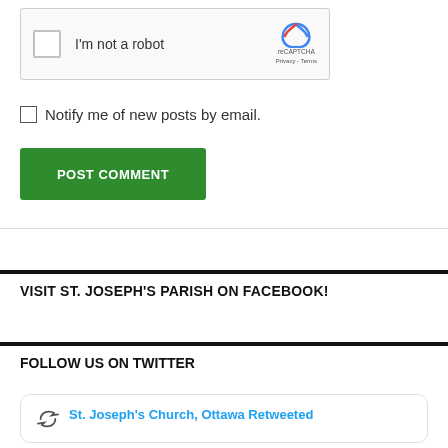[Figure (screenshot): reCAPTCHA widget with checkbox labeled 'I'm not a robot' and reCAPTCHA logo with Privacy - Terms text]
Notify me of new posts by email.
POST COMMENT
VISIT ST. JOSEPH'S PARISH ON FACEBOOK!
FOLLOW US ON TWITTER
St. Joseph's Church, Ottawa Retweeted